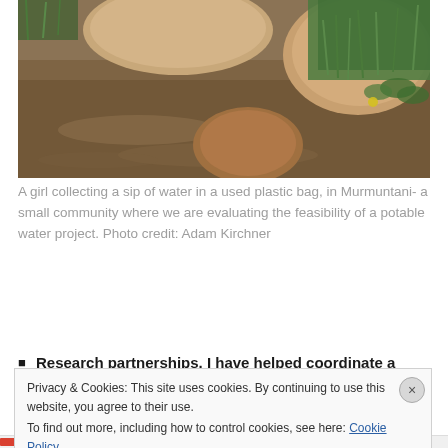[Figure (photo): A stream or puddle with rocks and green grass/plants visible, possibly someone collecting water. Rocks are visible in the water.]
A girl collecting a sip of water in a used plastic bag, in Murmuntani- a small community where we are evaluating the feasibility of a potable water project. Photo credit: Adam Kirchner
Research partnerships. I have helped coordinate a
Privacy & Cookies: This site uses cookies. By continuing to use this website, you agree to their use.
To find out more, including how to control cookies, see here: Cookie Policy